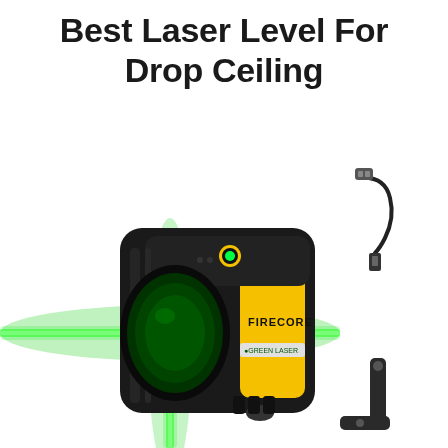Best Laser Level For Drop Ceiling
[Figure (photo): A Firecore brand green cross-line laser level (black and yellow body) emitting bright green laser lines in a cross pattern, shown with a USB charging cable and a mounting bracket accessory on a white background.]